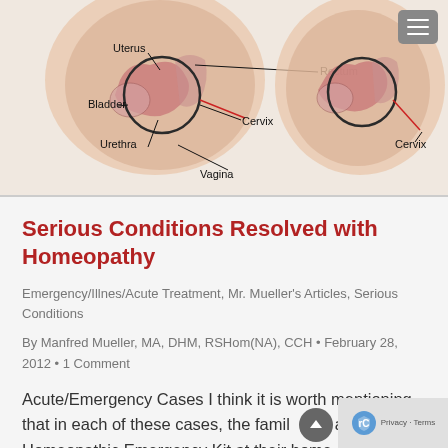[Figure (illustration): Medical anatomical diagram showing two cross-sectional views of the female pelvic anatomy. Left view labels: Uterus, Rectum, Bladder, Cervix, Urethra, Vagina with a circled region around the cervix/uterus area. Right view shows a similar cross-section with Cervix labeled and a circled region.]
Serious Conditions Resolved with Homeopathy
Emergency/Illnes/Acute Treatment, Mr. Mueller's Articles, Serious Conditions
By Manfred Mueller, MA, DHM, RSHom(NA), CCH • February 28, 2012 • 1 Comment
Acute/Emergency Cases I think it is worth mentioning that in each of these cases, the family had a Homeopathic Emergency Kit at their home.